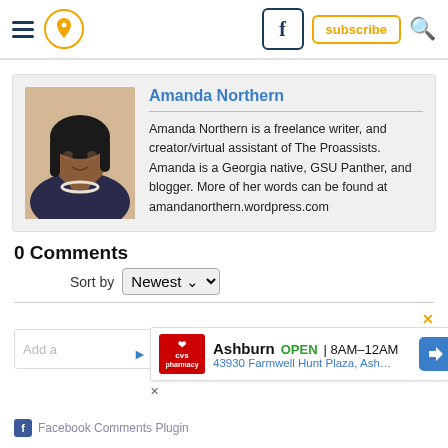Navigation bar with hamburger menu, location pin icon, Facebook button, subscribe button, search icon
[Figure (photo): Author photo of Amanda Northern, a woman with dark hair wearing a dark jacket and pearl necklace]
Amanda Northern
Amanda Northern is a freelance writer, and creator/virtual assistant of The Proassists. Amanda is a Georgia native, GSU Panther, and blogger. More of her words can be found at amandanorthern.wordpress.com
0 Comments
Sort by Newest
[Figure (screenshot): Advertisement banner for CVS Pharmacy in Ashburn showing OPEN 8AM-12AM and address 43930 Farmwell Hunt Plaza, Ash...]
Facebook Comments Plugin